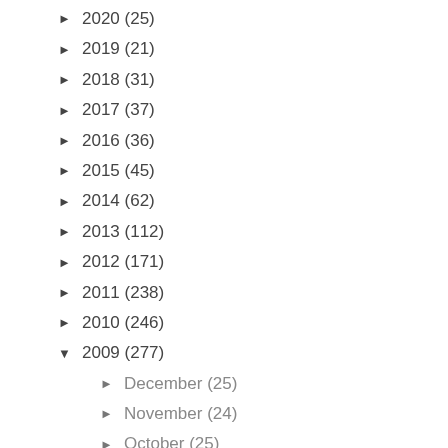► 2020 (25)
► 2019 (21)
► 2018 (31)
► 2017 (37)
► 2016 (36)
► 2015 (45)
► 2014 (62)
► 2013 (112)
► 2012 (171)
► 2011 (238)
► 2010 (246)
▼ 2009 (277)
► December (25)
► November (24)
► October (25)
► September (23)